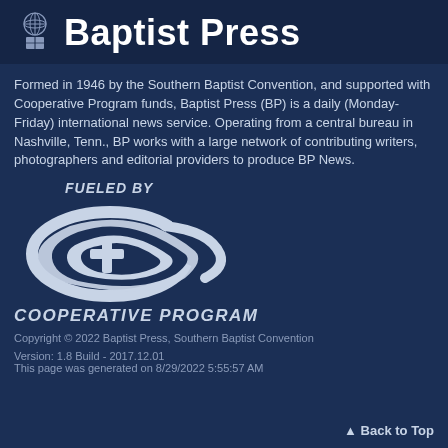Baptist Press
Formed in 1946 by the Southern Baptist Convention, and supported with Cooperative Program funds, Baptist Press (BP) is a daily (Monday-Friday) international news service. Operating from a central bureau in Nashville, Tenn., BP works with a large network of contributing writers, photographers and editorial providers to produce BP News.
[Figure (logo): Cooperative Program logo with swoosh design and text: FUELED BY COOPERATIVE PROGRAM]
Copyright © 2022 Baptist Press, Southern Baptist Convention
Version: 1.8 Build - 2017.12.01
This page was generated on 8/29/2022 5:55:57 AM
Back to Top